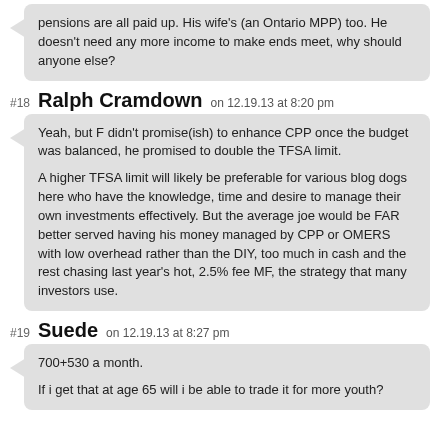pensions are all paid up. His wife's (an Ontario MPP) too. He doesn't need any more income to make ends meet, why should anyone else?
#18 Ralph Cramdown on 12.19.13 at 8:20 pm
Yeah, but F didn't promise(ish) to enhance CPP once the budget was balanced, he promised to double the TFSA limit.

A higher TFSA limit will likely be preferable for various blog dogs here who have the knowledge, time and desire to manage their own investments effectively. But the average joe would be FAR better served having his money managed by CPP or OMERS with low overhead rather than the DIY, too much in cash and the rest chasing last year's hot, 2.5% fee MF, the strategy that many investors use.
#19 Suede on 12.19.13 at 8:27 pm
700+530 a month.

If i get that at age 65 will i be able to trade it for more youth?